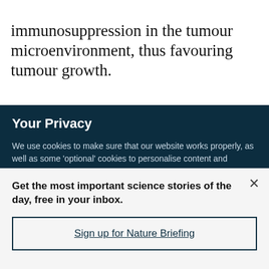damage can trigger inflammation associated immunosuppression in the tumour microenvironment, thus favouring tumour growth.
Your Privacy
We use cookies to make sure that our website works properly, as well as some 'optional' cookies to personalise content and advertising, provide social media features and analyse how people use our site. By accepting some or all optional cookies you give consent to the processing of your personal data, including transfer to third parties, some in countries outside of the European Economic Area that do not offer the same data protection standards as the country where you live. You can decide which optional cookies to accept by clicking on 'Manage Settings', where you can
Get the most important science stories of the day, free in your inbox.
Sign up for Nature Briefing